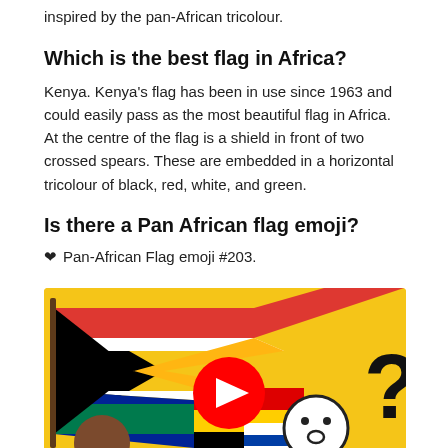inspired by the pan-African tricolour.
Which is the best flag in Africa?
Kenya. Kenya's flag has been in use since 1963 and could easily pass as the most beautiful flag in Africa. At the centre of the flag is a shield in front of two crossed spears. These are embedded in a horizontal tricolour of black, red, white, and green.
Is there a Pan African flag emoji?
❤ Pan-African Flag emoji #203.
[Figure (illustration): A YouTube video thumbnail showing African flags including the South African flag, cartoon face emoji, a question mark, on a yellow background with a YouTube play button overlay.]